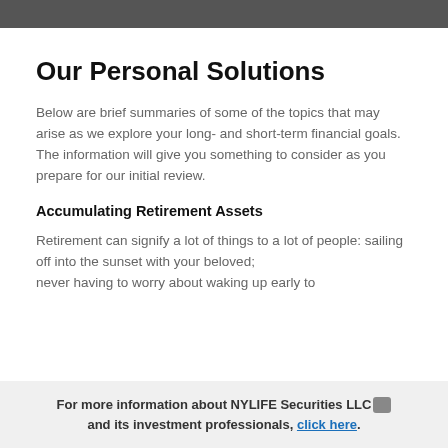Our Personal Solutions
Below are brief summaries of some of the topics that may arise as we explore your long- and short-term financial goals. The information will give you something to consider as you prepare for our initial review.
Accumulating Retirement Assets
Retirement can signify a lot of things to a lot of people: sailing off into the sunset with your beloved; never having to worry about waking up early to
For more information about NYLIFE Securities LLC and its investment professionals, click here.